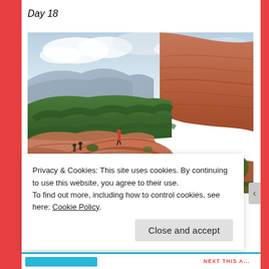Day 18
[Figure (photo): A person standing on a natural red rock arch/bridge in Sedona, Arizona, with sweeping views of red rock buttes, green juniper forest valley, and cloudy sky in the background.]
Privacy & Cookies: This site uses cookies. By continuing to use this website, you agree to their use.
To find out more, including how to control cookies, see here: Cookie Policy
Close and accept